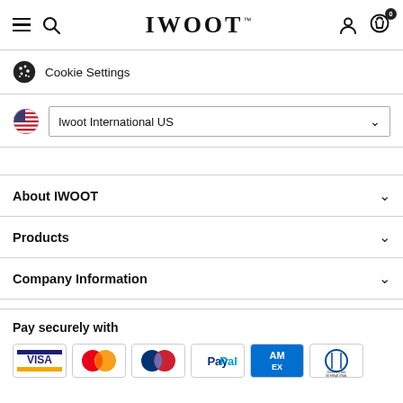IWOOT™ — Navigation header with menu, search, user, and cart icons
Cookie Settings
Iwoot International US
About IWOOT
Products
Company Information
Pay securely with
[Figure (logo): Payment method logos: VISA, Mastercard, Maestro, PayPal, American Express, Diners Club International]